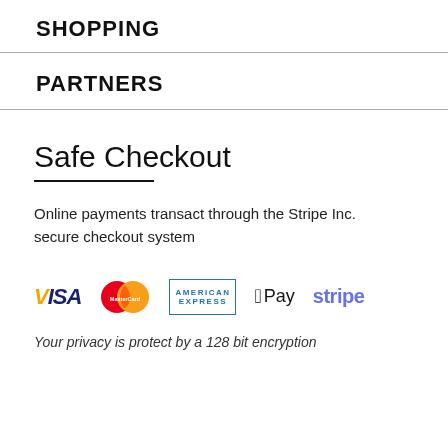SHOPPING
PARTNERS
Safe Checkout
Online payments transact through the Stripe Inc. secure checkout system
[Figure (logo): Payment logos: VISA, MasterCard, American Express, Apple Pay, Stripe]
Your privacy is protect by a 128 bit encryption